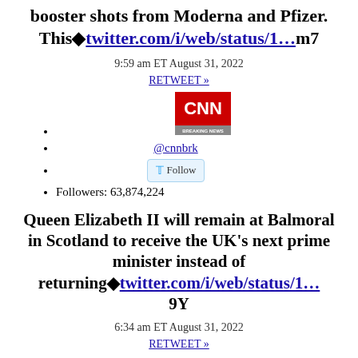booster shots from Moderna and Pfizer. This◆twitter.com/i/web/status/1…m7
9:59 am ET August 31, 2022
RETWEET »
[Figure (logo): CNN Breaking News logo — red background with white CNN text and BREAKING NEWS below]
@cnnbrk
Follow
Followers: 63,874,224
Queen Elizabeth II will remain at Balmoral in Scotland to receive the UK's next prime minister instead of returning◆twitter.com/i/web/status/1… 9Y
6:34 am ET August 31, 2022
RETWEET »